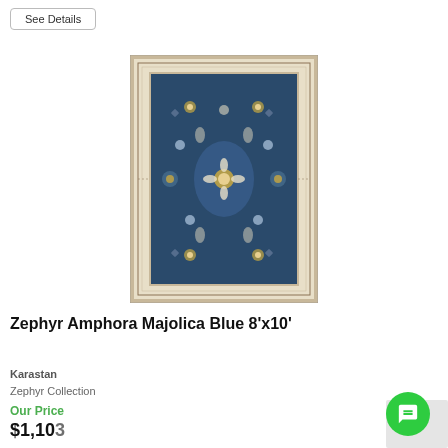See Details
[Figure (photo): Zephyr Amphora Majolica Blue oriental rug with intricate floral and geometric patterns on a dark blue background with a light beige border]
Zephyr Amphora Majolica Blue 8'x10'
Karastan
Zephyr Collection
Our Price
$1,103